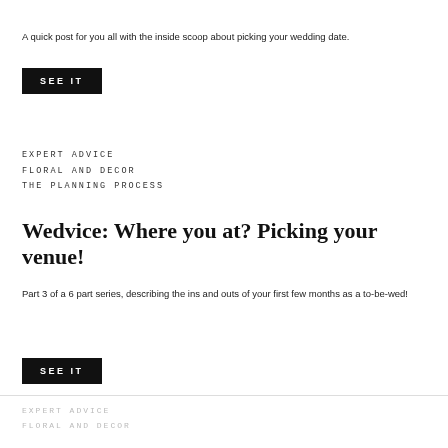A quick post for you all with the inside scoop about picking your wedding date.
SEE IT
EXPERT ADVICE
FLORAL AND DECOR
THE PLANNING PROCESS
Wedvice: Where you at? Picking your venue!
Part 3 of a 6 part series, describing the ins and outs of your first few months as a to-be-wed!
SEE IT
EXPERT ADVICE
FLORAL AND DECOR